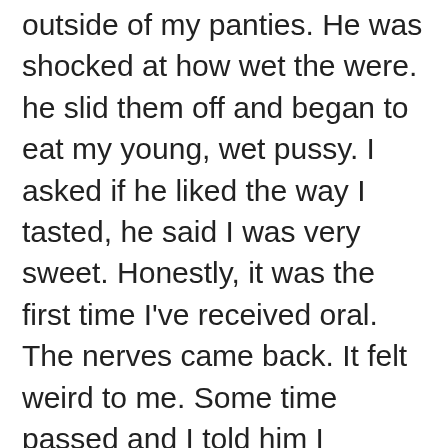outside of my panties. He was shocked at how wet the were. he slid them off and began to eat my young, wet pussy. I asked if he liked the way I tasted, he said I was very sweet. Honestly, it was the first time I've received oral. The nerves came back. It felt weird to me. Some time passed and I told him I wanted to give him a blowjob. I've never done that before either. I removed his guvenilir bahis briefs, and out popped his thick, hard, older cock. I took his cock into my mouth. I enjoyed the feeling. I read lots of oral sex articles on cosmopolitan.com and tried a few things. Before I knew it, he started moaning and his hips started to buckle. I stopped, I didn't want him to cum… not yet. He flipped me back over and continued to give me oral. I couldn't take it anymore and told him to fuck me. He put the condom on and slowly inserted his hard older cock into my tight, wet, young pussy. It felt heavenly. We had sex in many positions. He went for three rounds until he couldn't take it anymore. After laying